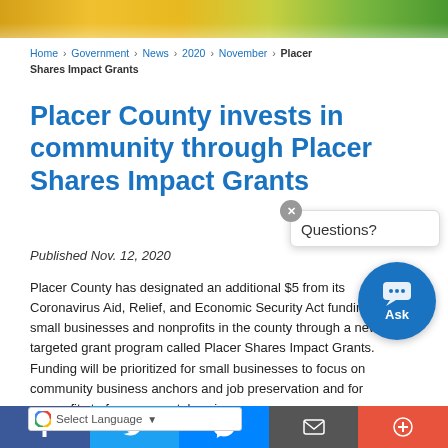[Figure (photo): Colorful flower banner photo at top of page with yellow and purple flowers]
Home › Government › News › 2020 › November › Placer Shares Impact Grants
Placer County invests in community through Placer Shares Impact Grants
Published Nov. 12, 2020
Placer County has designated an additional $5[million] from its Coronavirus Aid, Relief, and Economic Security Act funding to aid small businesses and nonprofits in the county through a new, targeted grant program called Placer Shares Impact Grants. Funding will be prioritized for small businesses to focus on community business anchors and job preservation and for nonprofits to focus on rental assis[tance] security and counseling/mental [health]
Social share bar: Facebook, Twitter, Messenger, Email, More